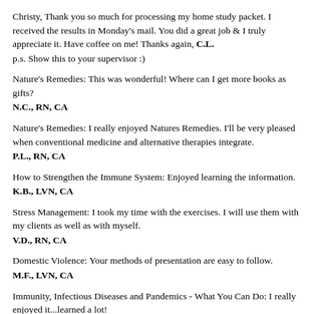Christy, Thank you so much for processing my home study packet. I received the results in Monday's mail. You did a great job & I truly appreciate it. Have coffee on me! Thanks again, C.L.
p.s. Show this to your supervisor :)
Nature's Remedies: This was wonderful! Where can I get more books as gifts?
N.C., RN, CA
Nature's Remedies: I really enjoyed Natures Remedies. I'll be very pleased when conventional medicine and alternative therapies integrate.
P.L., RN, CA
How to Strengthen the Immune System: Enjoyed learning the information.
K.B., LVN, CA
Stress Management: I took my time with the exercises. I will use them with my clients as well as with myself.
V.D., RN, CA
Domestic Violence: Your methods of presentation are easy to follow.
M.F., LVN, CA
Immunity, Infectious Diseases and Pandemics - What You Can Do: I really enjoyed it...learned a lot!
D.M., RN, CA